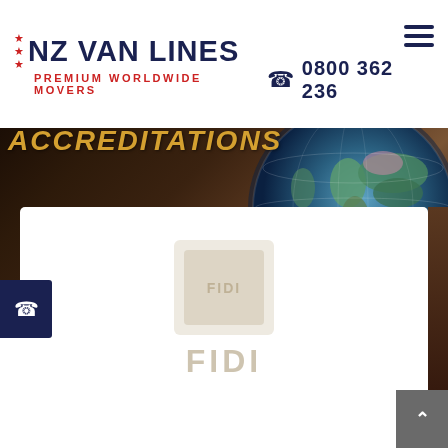NZ VAN LINES — PREMIUM WORLDWIDE MOVERS | 0800 362 236
ACCREDITATIONS
[Figure (logo): FIDI accreditation logo shown faintly in white card section]
[Figure (photo): Globe photograph in background hero area showing world map]